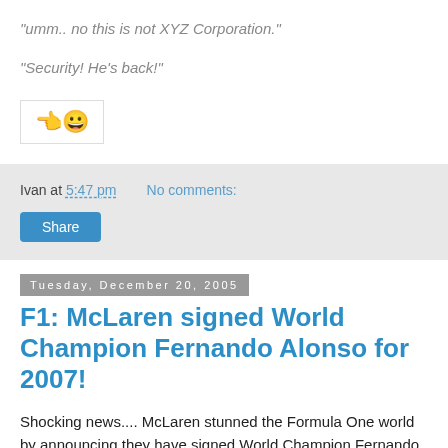"umm.. no this is not XYZ Corporation."
"Security! He's back!"
[Figure (illustration): Small box containing a pointing hand and a smiley face emoji]
Ivan at 5:47 pm    No comments:
Share
Tuesday, December 20, 2005
F1: McLaren signed World Champion Fernando Alonso for 2007!
Shocking news.... McLaren stunned the Formula One world by announcing they have signed World Champion Fernando Alonso for the 2007 season. Interestingly, the move comes just days after McLaren signed a lucrative sponsorship deal